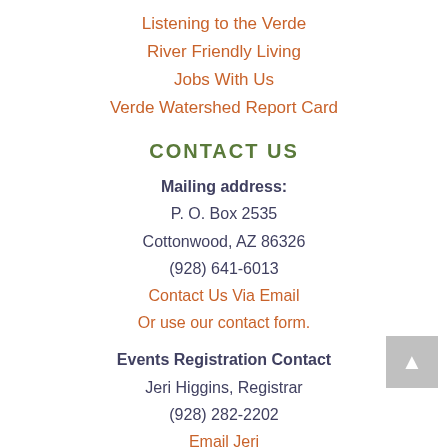Listening to the Verde
River Friendly Living
Jobs With Us
Verde Watershed Report Card
CONTACT US
Mailing address:
P. O. Box 2535
Cottonwood, AZ 86326
(928) 641-6013
Contact Us Via Email
Or use our contact form.
Events Registration Contact
Jeri Higgins, Registrar
(928) 282-2202
Email Jeri
STAY CONNECTED